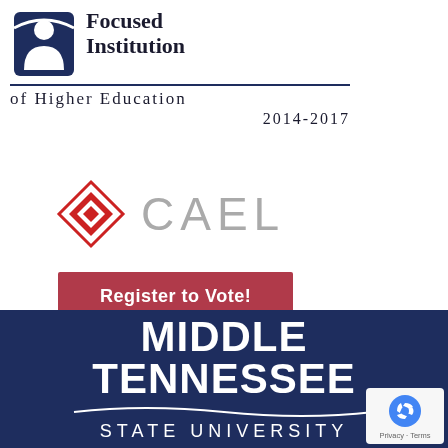[Figure (logo): Focused Institution of Higher Education 2014-2017 badge with blue figure icon]
[Figure (logo): CAEL logo with red diamond/arrow icon and gray CAEL text]
[Figure (other): Red 'Register to Vote!' button]
[Figure (logo): Middle Tennessee State University logo on dark navy background with white text and wave line]